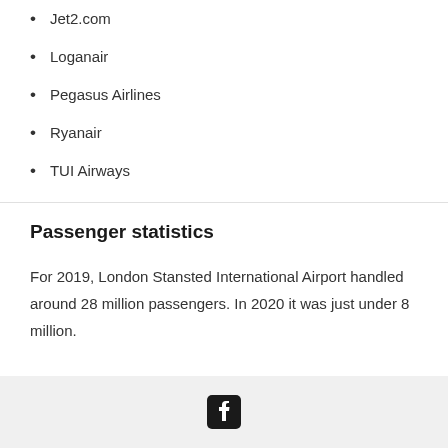Jet2.com
Loganair
Pegasus Airlines
Ryanair
TUI Airways
Passenger statistics
For 2019, London Stansted International Airport handled around 28 million passengers. In 2020 it was just under 8 million.
[Facebook icon]